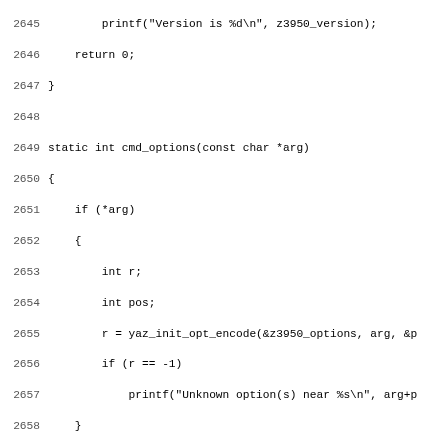Source code listing, lines 2645–2677, showing C functions cmd_options and cmd_explain